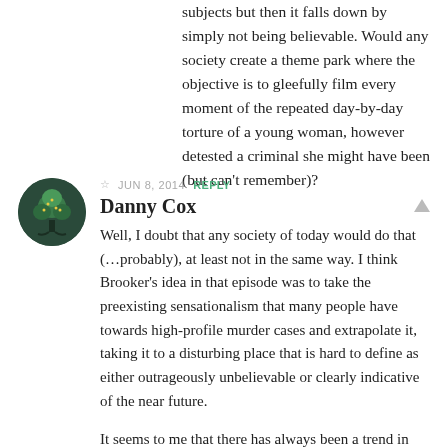subjects but then it falls down by simply not being believable. Would any society create a theme park where the objective is to gleefully film every moment of the repeated day-by-day torture of a young woman, however detested a criminal she might have been (but can't remember)?
☆ JUN 8, 2014  REPLY
Danny Cox
Well, I doubt that any society of today would do that (…probably), at least not in the same way. I think Brooker's idea in that episode was to take the preexisting sensationalism that many people have towards high-profile murder cases and extrapolate it, taking it to a disturbing place that is hard to define as either outrageously unbelievable or clearly indicative of the near future.
It seems to me that there has always been a trend in societies to publicly reprimand the guilty, whether it be to put them in the stockade at the public square,